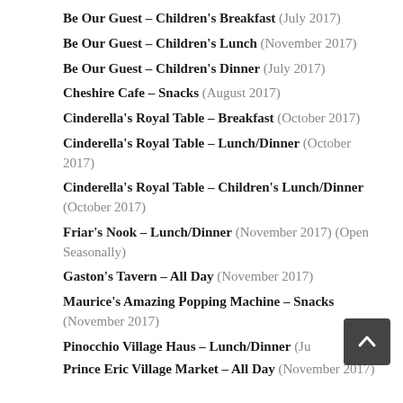Be Our Guest – Children's Breakfast (July 2017)
Be Our Guest – Children's Lunch (November 2017)
Be Our Guest – Children's Dinner (July 2017)
Cheshire Cafe – Snacks (August 2017)
Cinderella's Royal Table – Breakfast (October 2017)
Cinderella's Royal Table – Lunch/Dinner (October 2017)
Cinderella's Royal Table – Children's Lunch/Dinner (October 2017)
Friar's Nook – Lunch/Dinner (November 2017) (Open Seasonally)
Gaston's Tavern – All Day (November 2017)
Maurice's Amazing Popping Machine – Snacks (November 2017)
Pinocchio Village Haus – Lunch/Dinner (July 2017)
Prince Eric Village Market – All Day (November 2017)